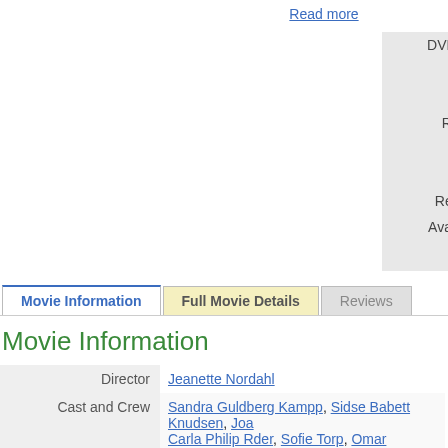Read more
| Label | Value |
| --- | --- |
| DVD Code | PAL225 |
| Rating | M |
| Year | 2020 |
| Runtime | 89 mins |
| Disks | 1 disk(s) |
| Format | DVD, M |
| Released | 21 Apr 2022 |
| Availability | Available at supp 14 working days |
Movie Information | Full Movie Details | Reviews
Movie Information
| Field | Value |
| --- | --- |
| Director | Jeanette Nordahl |
| Cast and Crew | Sandra Guldberg Kampp, Sidse Babett Knudsen, Joa Carla Philip Rder, Sofie Torp, Omar Shargawi, Maria M Sejersen, Marie Knudsen Fogh, Henrik Vestergaard, Ballesheim |
| Languages | Danish |